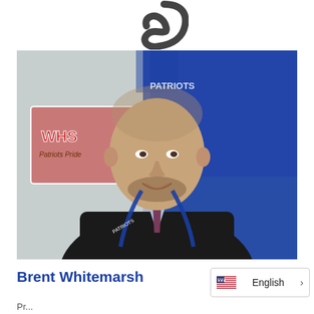[Figure (logo): Partial dark logo mark (curved shape) at top center of page]
[Figure (photo): Portrait photograph of a man (Brent Whitemarsh) in a dark suit, light blue shirt, striped tie, and blue Patriots lanyard, standing in front of a blue Patriots banner and American flag themed decorations. He is smiling and has short hair and a beard.]
Brent Whitemarsh
English